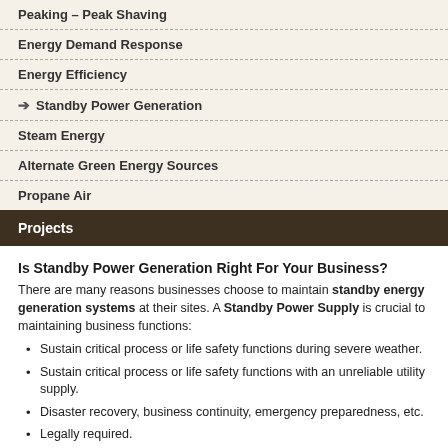Peaking – Peak Shaving
Energy Demand Response
Energy Efficiency
➔ Standby Power Generation
Steam Energy
Alternate Green Energy Sources
Propane Air
Projects
Is Standby Power Generation Right For Your Business?
There are many reasons businesses choose to maintain standby energy generation systems at their sites. A Standby Power Supply is crucial to maintaining business functions:
Sustain critical process or life safety functions during severe weather.
Sustain critical process or life safety functions with an unreliable utility supply.
Disaster recovery, business continuity, emergency preparedness, etc.
Legally required.
Insurance company requirements.